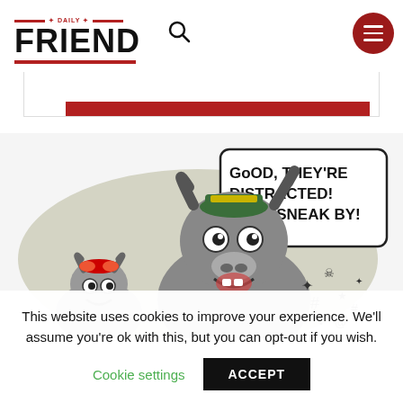[Figure (logo): Daily Friend logo with red horizontal lines above FRIEND text, a search icon, and a red circular hamburger menu button]
[Figure (illustration): Cartoon illustration of a large buffalo wearing a green and yellow cap, with a smaller buffalo, speech bubble reading 'Good, They're Distracted! Let's Sneak By!' and comic-style symbols]
This website uses cookies to improve your experience. We'll assume you're ok with this, but you can opt-out if you wish.
Cookie settings    ACCEPT